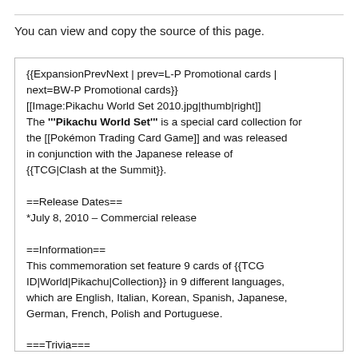You can view and copy the source of this page.
{{ExpansionPrevNext | prev=L-P Promotional cards | next=BW-P Promotional cards}}
[[Image:Pikachu World Set 2010.jpg|thumb|right]]
The '''Pikachu World Set''' is a special card collection for the [[Pokémon Trading Card Game]] and was released in conjunction with the Japanese release of {{TCG|Clash at the Summit}}.

==Release Dates==
*July 8, 2010 – Commercial release

==Information==
This commemoration set feature 9 cards of {{TCG ID|World|Pikachu|Collection}} in 9 different languages, which are English, Italian, Korean, Spanish, Japanese, German, French, Polish and Portuguese.

===Trivia===
*The Japanese language Pikachu...